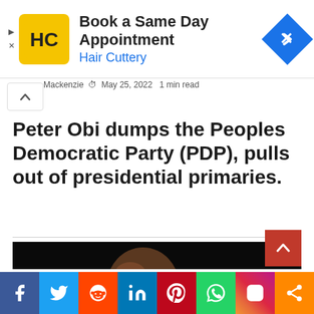[Figure (other): Advertisement banner for Hair Cuttery with yellow HC logo, text 'Book a Same Day Appointment' and 'Hair Cuttery' in blue, and a blue diamond navigation icon]
Mackenzie · May 25, 2022 · 1 min read
Peter Obi dumps the Peoples Democratic Party (PDP), pulls out of presidential primaries.
[Figure (photo): Photo of Peter Obi, a man with glasses, against a dark background]
[Figure (other): Social media sharing bar with icons for Facebook, Twitter, Reddit, LinkedIn, Pinterest, WhatsApp, Instagram, and share]